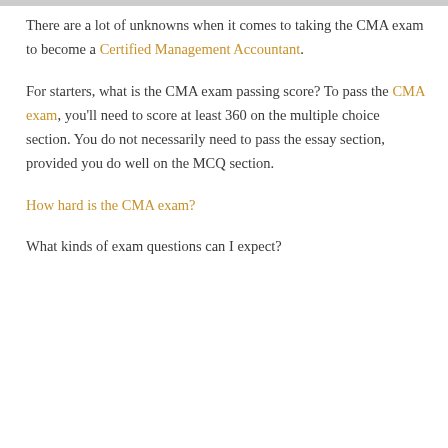There are a lot of unknowns when it comes to taking the CMA exam to become a Certified Management Accountant.
For starters, what is the CMA exam passing score? To pass the CMA exam, you'll need to score at least 360 on the multiple choice section. You do not necessarily need to pass the essay section, provided you do well on the MCQ section.
How hard is the CMA exam?
What kinds of exam questions can I expect?